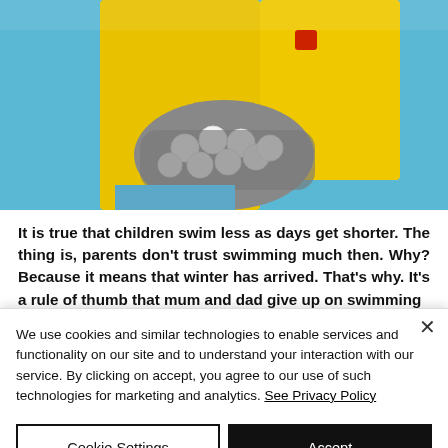[Figure (photo): Two people in yellow shirts and grey gloves holding white balls near a pool]
It is true that children swim less as days get shorter. The thing is, parents don't trust swimming much then. Why? Because it means that winter has arrived. That's why. It's a rule of thumb that mum and dad give up on swimming
We use cookies and similar technologies to enable services and functionality on our site and to understand your interaction with our service. By clicking on accept, you agree to our use of such technologies for marketing and analytics. See Privacy Policy
Cookie Settings
Accept